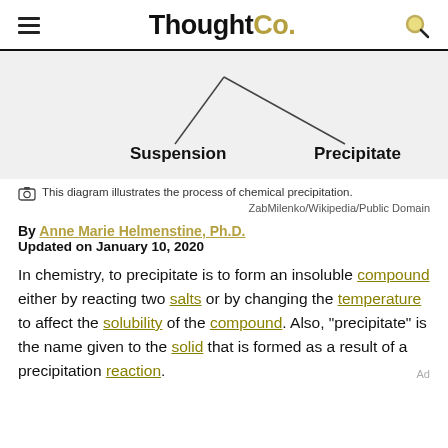ThoughtCo.
[Figure (schematic): Diagram showing labels 'Suspension' and 'Precipitate' with lines pointing upward, illustrating the process of chemical precipitation.]
This diagram illustrates the process of chemical precipitation. ZabMilenko/Wikipedia/Public Domain
By Anne Marie Helmenstine, Ph.D.
Updated on January 10, 2020
In chemistry, to precipitate is to form an insoluble compound either by reacting two salts or by changing the temperature to affect the solubility of the compound. Also, "precipitate" is the name given to the solid that is formed as a result of a precipitation reaction.